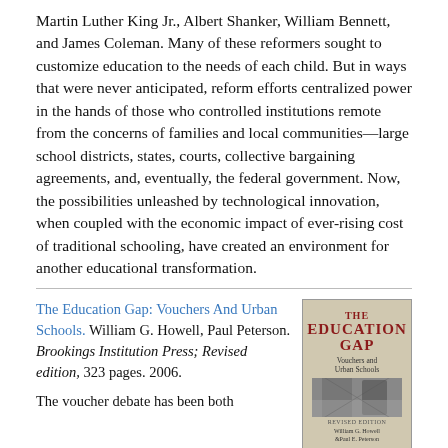Martin Luther King Jr., Albert Shanker, William Bennett, and James Coleman. Many of these reformers sought to customize education to the needs of each child. But in ways that were never anticipated, reform efforts centralized power in the hands of those who controlled institutions remote from the concerns of families and local communities—large school districts, states, courts, collective bargaining agreements, and, eventually, the federal government. Now, the possibilities unleashed by technological innovation, when coupled with the economic impact of ever-rising cost of traditional schooling, have created an environment for another educational transformation.
The Education Gap: Vouchers And Urban Schools. William G. Howell, Paul Peterson. Brookings Institution Press; Revised edition, 323 pages. 2006.
[Figure (photo): Book cover of 'The Education Gap: Vouchers and Urban Schools, Revised Edition' by William G. Howell and Paul E. Peterson. Red title text on a gray/beige background with a photographic image.]
The voucher debate has been both